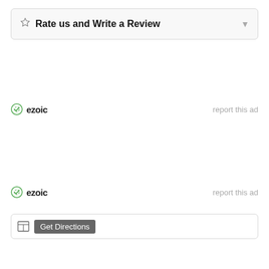Rate us and Write a Review
[Figure (logo): Ezoic logo with green circle checkmark icon and text 'ezoic', with 'report this ad' link to the right]
[Figure (logo): Ezoic logo with green circle checkmark icon and text 'ezoic', with 'report this ad' link to the right]
Get Directions